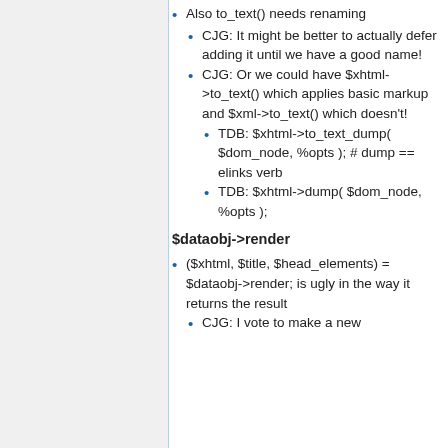Also to_text() needs renaming
CJG: It might be better to actually defer adding it until we have a good name!
CJG: Or we could have $xhtml->to_text() which applies basic markup and $xml->to_text() which doesn't!
TDB: $xhtml->to_text_dump( $dom_node, %opts ); # dump == elinks verb
TDB: $xhtml->dump( $dom_node, %opts );
$dataobj->render
($xhtml, $title, $head_elements) = $dataobj->render; is ugly in the way it returns the result
CJG: I vote to make a new